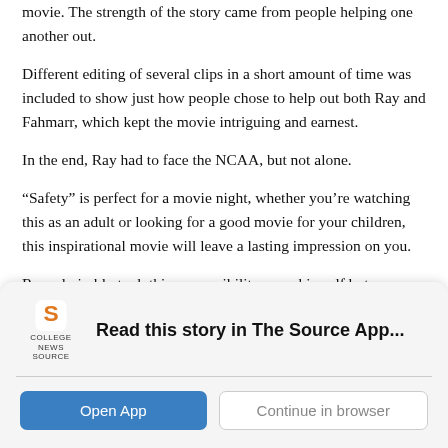movie. The strength of the story came from people helping one another out.
Different editing of several clips in a short amount of time was included to show just how people chose to help out both Ray and Fahmarr, which kept the movie intriguing and earnest.
In the end, Ray had to face the NCAA, but not alone.
“Safety” is perfect for a movie night, whether you’re watching this as an adult or looking for a good movie for your children, this inspirational movie will leave a lasting impression on you.
Ray admirably took this responsibility upon himself but reminded us all that it’s okay to ask for help when one needs it the most.
[Figure (logo): College News Source app logo and banner reading 'Read this story in The Source App...' with Open App and Continue in browser buttons]